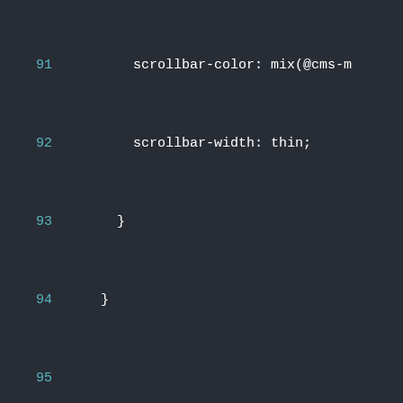[Figure (screenshot): Code editor screenshot showing CSS/LESS code lines 91-115 with line numbers in teal and code in white on a dark background (#282c34). Lines show scrollbar-color, scrollbar-width, closing braces, &-workbench, visibility, &-navigation, box-shadow, &-dialog-content, &-image-icon, color, &-view, &-header selectors and properties.]